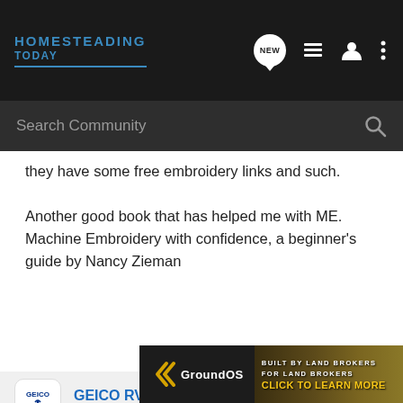HOMESTEADING TODAY
they have some free embroidery links and such.
Another good book that has helped me with ME. Machine Embroidery with confidence, a beginner's guide by Nancy Zieman
[Figure (logo): GEICO RV Insurance advertisement with GEICO logo]
GEICO offers affordable RV insurance with great coverage for your needs
Get an
[Figure (screenshot): GroundOS banner ad: BUILT BY LAND BROKERS FOR LAND BROKERS - CLICK TO LEARN MORE]